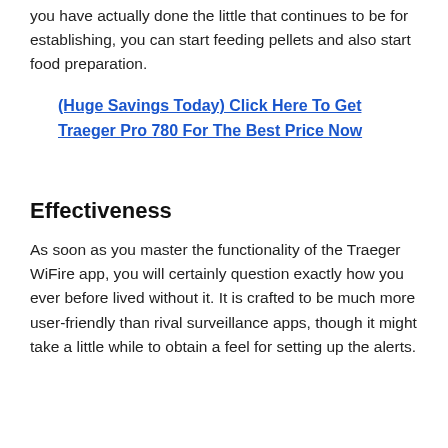you have actually done the little that continues to be for establishing, you can start feeding pellets and also start food preparation.
(Huge Savings Today) Click Here To Get Traeger Pro 780 For The Best Price Now
Effectiveness
As soon as you master the functionality of the Traeger WiFire app, you will certainly question exactly how you ever before lived without it. It is crafted to be much more user-friendly than rival surveillance apps, though it might take a little while to obtain a feel for setting up the alerts.